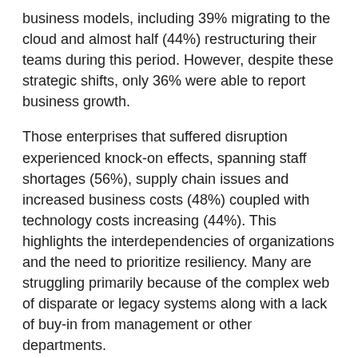business models, including 39% migrating to the cloud and almost half (44%) restructuring their teams during this period. However, despite these strategic shifts, only 36% were able to report business growth.
Those enterprises that suffered disruption experienced knock-on effects, spanning staff shortages (56%), supply chain issues and increased business costs (48%) coupled with technology costs increasing (44%). This highlights the interdependencies of organizations and the need to prioritize resiliency. Many are struggling primarily because of the complex web of disparate or legacy systems along with a lack of buy-in from management or other departments.
Looking ahead, 52% of IT decision-makers believe they need to account for regulatory changes. Among the top technology investment priorities for the remainder of 2022 were: